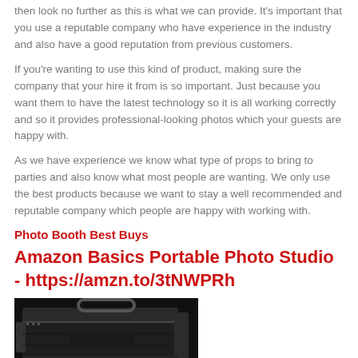then look no further as this is what we can provide. It's important that you use a reputable company who have experience in the industry and also have a good reputation from previous customers.
If you're wanting to use this kind of product, making sure the company that your hire it from is so important. Just because you want them to have the latest technology so it is all working correctly and so it provides professional-looking photos which your guests are happy with.
As we have experience we know what type of props to bring to parties and also know what most people are wanting. We only use the best products because we want to stay a well recommended and reputable company which people are happy with working with.
Photo Booth Best Buys
Amazon Basics Portable Photo Studio - https://amzn.to/3tNWPRh
[Figure (photo): A black portable photo studio bag/carrying case with handle and zipper closure]